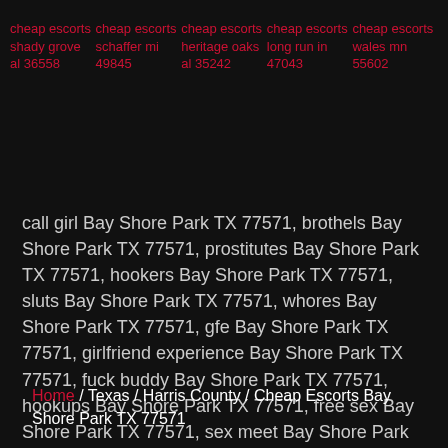cheap escorts shady grove al 36558
cheap escorts schaffer mi 49845
cheap escorts heritage oaks al 35242
cheap escorts long run in 47043
cheap escorts wales mn 55602
call girl Bay Shore Park TX 77571, brothels Bay Shore Park TX 77571, prostitutes Bay Shore Park TX 77571, hookers Bay Shore Park TX 77571, sluts Bay Shore Park TX 77571, whores Bay Shore Park TX 77571, gfe Bay Shore Park TX 77571, girlfriend experience Bay Shore Park TX 77571, fuck buddy Bay Shore Park TX 77571, hookups Bay Shore Park TX 77571, free sex Bay Shore Park TX 77571, sex meet Bay Shore Park TX 77571, nsa sex Bay Shore Park TX 77571
Home / Texas / Harris County / Cheap Escorts Bay Shore Park TX 77571